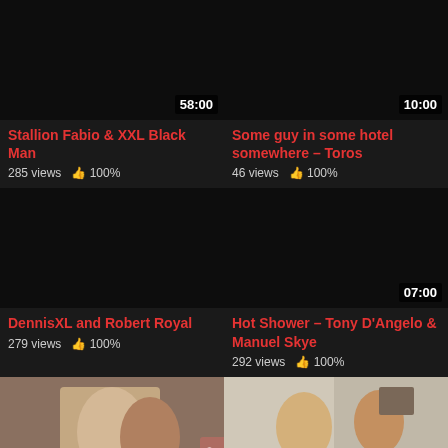[Figure (screenshot): Video thumbnail black with duration 58:00, title Stallion Fabio & XXL Black Man, 285 views 100%]
[Figure (screenshot): Video thumbnail black with duration 10:00, title Some guy in some hotel somewhere - Toros, 46 views 100%]
[Figure (screenshot): Video thumbnail black, no duration shown, title DennisXL and Robert Royal, 279 views 100%]
[Figure (screenshot): Video thumbnail black with duration 07:00, title Hot Shower - Tony D'Angelo & Manuel Skye, 292 views 100%]
[Figure (photo): Video thumbnail photo with duration 21:00]
[Figure (photo): Video thumbnail photo with duration 23:00]